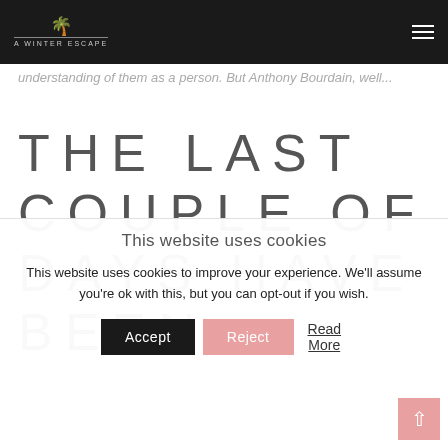A WINTER ESCAPE
understanding of them as a person. But Anthony Bourdain, well...
THE LAST COUPLE OF DAYS HAVE BEEN
This website uses cookies
This website uses cookies to improve your experience. We'll assume you're ok with this, but you can opt-out if you wish.
Accept  Reject  Read More